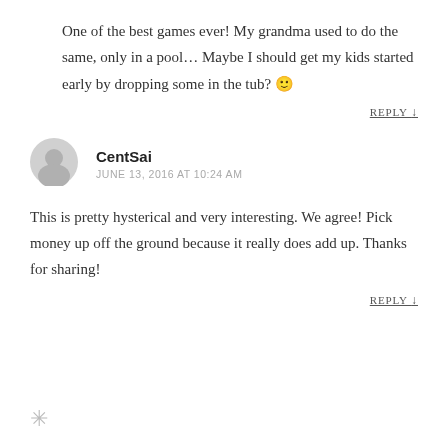One of the best games ever! My grandma used to do the same, only in a pool… Maybe I should get my kids started early by dropping some in the tub? 🙂
REPLY ↓
CentSai
JUNE 13, 2016 AT 10:24 AM
This is pretty hysterical and very interesting. We agree! Pick money up off the ground because it really does add up. Thanks for sharing!
REPLY ↓